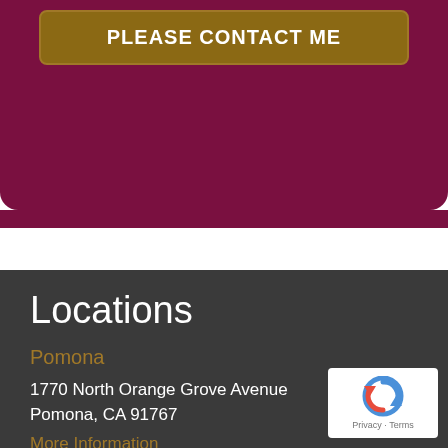PLEASE CONTACT ME
Locations
Pomona
1770 North Orange Grove Avenue
Pomona, CA 91767
More Information
View Location
[Figure (logo): reCAPTCHA Privacy - Terms badge]